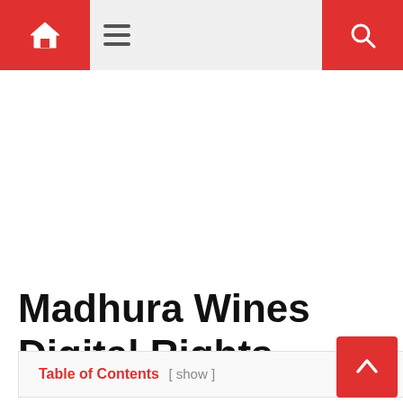Navigation bar with home icon, hamburger menu, and search icon
Madhura Wines Digital Rights
Table of Contents [ show ]